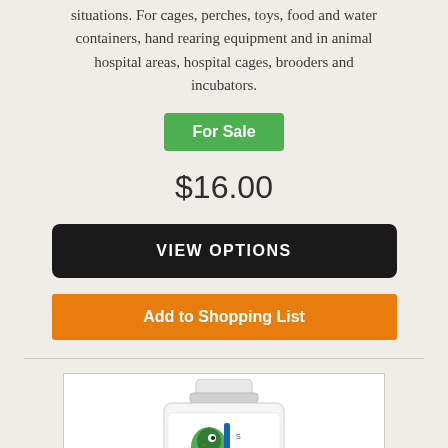situations. For cages, perches, toys, food and water containers, hand rearing equipment and in animal hospital areas, hospital cages, brooders and incubators.
For Sale
$16.00
VIEW OPTIONS
Add to Shopping List
[Figure (photo): A white plastic bottle with a parrot label, partially visible at the bottom of the page.]